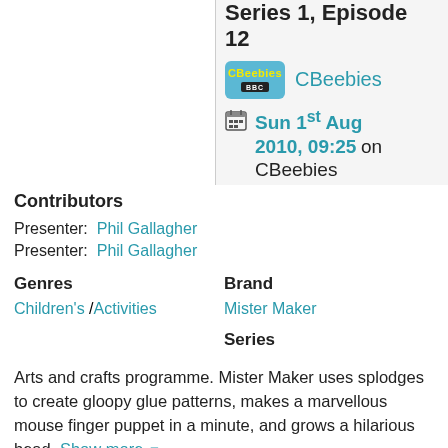Series 1, Episode 12
CBeebies
Sun 1st Aug 2010, 09:25 on CBeebies
Arts and crafts programme. Mister Maker uses splodges to create gloopy glue patterns, makes a marvellous mouse finger puppet in a minute, and grows a hilarious head. Show more
Contributors
Presenter: Phil Gallagher
Presenter: Phil Gallagher
Genres
Children's / Activities
Brand
Mister Maker
Series